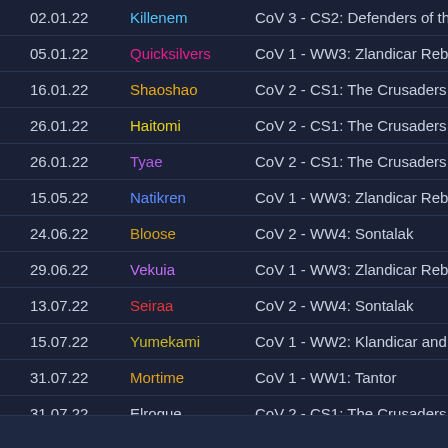| Date | Name | Campaign |  |
| --- | --- | --- | --- |
| 02.01.22 | Killenem | CoV 3 - CS2: Defenders of the Tomb | de |
| 05.01.22 | Quicksilvers | CoV 1 - WW3: Zlandicar Reborn | de |
| 16.01.22 | Shaoshao | CoV 2 - CS1: The Crusaders | de |
| 26.01.22 | Haitomi | CoV 2 - CS1: The Crusaders | de |
| 26.01.22 | Tyae | CoV 2 - CS1: The Crusaders | de |
| 15.05.22 | Natikren | CoV 1 - WW3: Zlandicar Reborn | de |
| 24.06.22 | Bloose | CoV 2 - WW4: Sontalak | de |
| 29.06.22 | Vekuia | CoV 1 - WW3: Zlandicar Reborn | de |
| 13.07.22 | Seiraa | CoV 2 - WW4: Sontalak | de |
| 15.07.22 | Yumekami | CoV 1 - WW2: Klandicar and the New Brood | de |
| 31.07.22 | Mortime | CoV 1 - WW1: Tantor | de |
| 31.07.22 | Elrogue | CoV 2 - CS1: The Crusaders | de |
| 21.08.22 | Squalla | CoV 1 - WW1: Tantor | de |